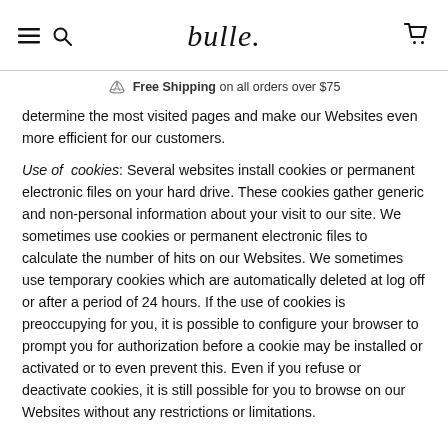bulle. [navigation header with hamburger menu, search icon, logo, and cart icon]
Free Shipping on all orders over $75
determine the most visited pages and make our Websites even more efficient for our customers.
Use of cookies: Several websites install cookies or permanent electronic files on your hard drive. These cookies gather generic and non-personal information about your visit to our site. We sometimes use cookies or permanent electronic files to calculate the number of hits on our Websites. We sometimes use temporary cookies which are automatically deleted at log off or after a period of 24 hours. If the use of cookies is preoccupying for you, it is possible to configure your browser to prompt you for authorization before a cookie may be installed or activated or to even prevent this. Even if you refuse or deactivate cookies, it is still possible for you to browse on our Websites without any restrictions or limitations.